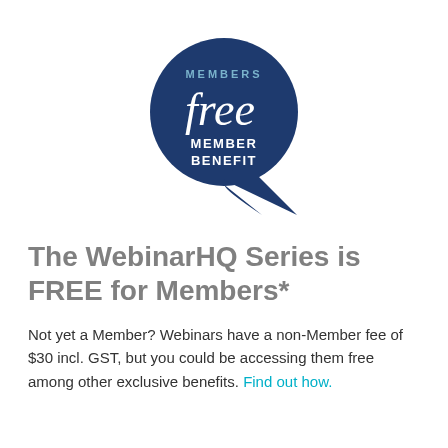[Figure (logo): Dark navy blue teardrop/badge shape with text: 'MEMBERS' at top in small caps, 'free' in large italic script font in white, 'MEMBER BENEFIT' in white uppercase text below]
The WebinarHQ Series is FREE for Members*
Not yet a Member? Webinars have a non-Member fee of $30 incl. GST, but you could be accessing them free among other exclusive benefits. Find out how.